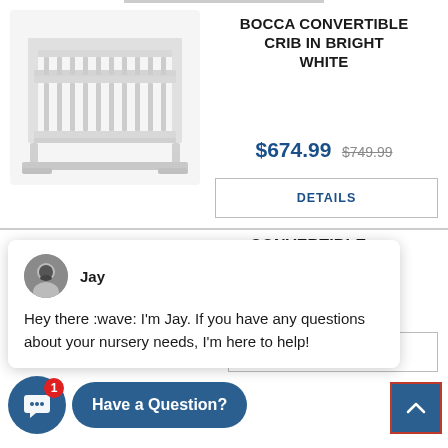[Figure (photo): White convertible crib product photo on white background]
BOCCA CONVERTIBLE CRIB IN BRIGHT WHITE
$674.99  $749.99
DETAILS
[Figure (screenshot): Live chat widget showing agent Jay with message: Hey there :wave: I'm Jay. If you have any questions about your nursery needs, I'm here to help!]
× CONVERTIBLE ARINA GREY
9  $749.99
DETAILS
Have a Question?